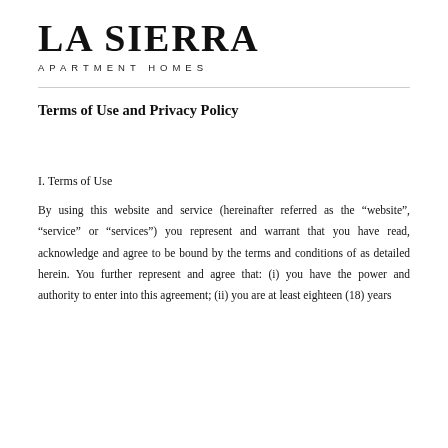LA SIERRA
APARTMENT HOMES
Terms of Use and Privacy Policy
I. Terms of Use
By using this website and service (hereinafter referred as the “website”, “service” or “services”) you represent and warrant that you have read, acknowledge and agree to be bound by the terms and conditions of as detailed herein. You further represent and agree that: (i) you have the power and authority to enter into this agreement; (ii) you are at least eighteen (18) years